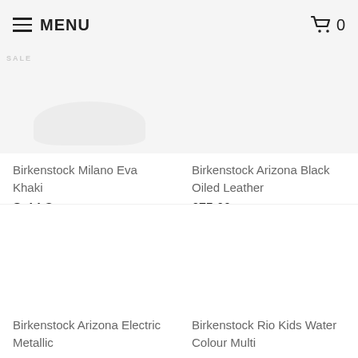MENU   🛒 0
Birkenstock Milano Eva Khaki
Sold Out
Birkenstock Arizona Black Oiled Leather
£75.00
Birkenstock Arizona Electric Metallic
Birkenstock Rio Kids Water Colour Multi